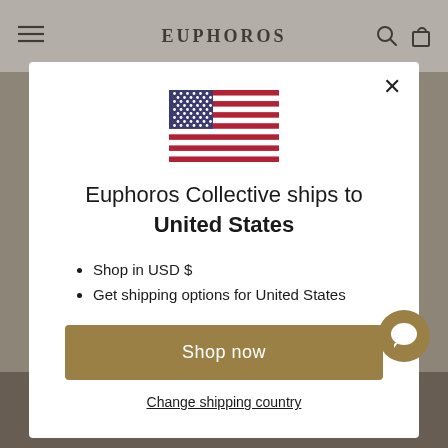EUPHOROS
[Figure (illustration): US flag illustration shown in modal]
Euphoros Collective ships to United States
Shop in USD $
Get shipping options for United States
Shop now
Change shipping country